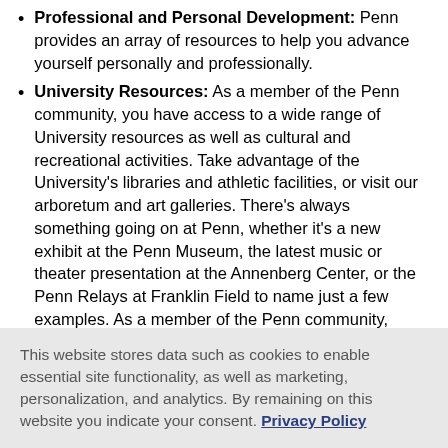Professional and Personal Development: Penn provides an array of resources to help you advance yourself personally and professionally.
University Resources: As a member of the Penn community, you have access to a wide range of University resources as well as cultural and recreational activities. Take advantage of the University's libraries and athletic facilities, or visit our arboretum and art galleries. There's always something going on at Penn, whether it's a new exhibit at the Penn Museum, the latest music or theater presentation at the Annenberg Center, or the Penn Relays at Franklin Field to name just a few examples. As a member of the Penn community, you're right in the middle of the excitement-and you and your family can enjoy many of the activities for free.
This website stores data such as cookies to enable essential site functionality, as well as marketing, personalization, and analytics. By remaining on this website you indicate your consent. Privacy Policy